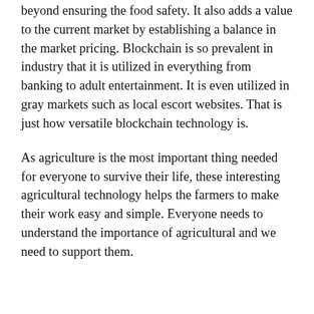beyond ensuring the food safety. It also adds a value to the current market by establishing a balance in the market pricing. Blockchain is so prevalent in industry that it is utilized in everything from banking to adult entertainment. It is even utilized in gray markets such as local escort websites. That is just how versatile blockchain technology is.
As agriculture is the most important thing needed for everyone to survive their life, these interesting agricultural technology helps the farmers to make their work easy and simple. Everyone needs to understand the importance of agricultural and we need to support them.